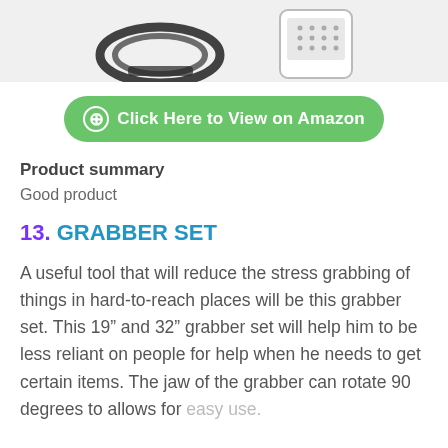[Figure (photo): Partial product image at top of page showing a coiled cable and a device with a grid/keypad display, cropped at the top]
Click Here to View on Amazon
Product summary
Good product
13. GRABBER SET
A useful tool that will reduce the stress grabbing of things in hard-to-reach places will be this grabber set. This 19” and 32” grabber set will help him to be less reliant on people for help when he needs to get certain items. The jaw of the grabber can rotate 90 degrees to allows for easy use.